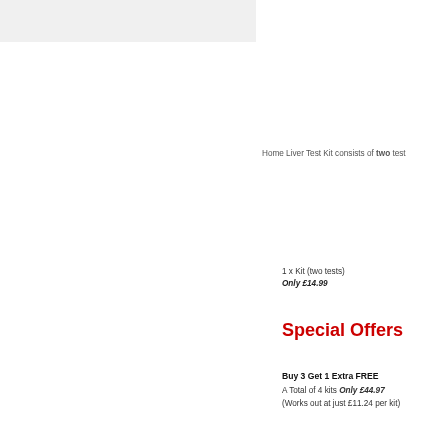[Figure (photo): Gray/light background image area in top-left of page]
Home Liver Test Kit consists of two test
1 x Kit (two tests)
Only £14.99
Special Offers
Buy 3 Get 1 Extra FREE
A Total of 4 kits Only £44.97
(Works out at just £11.24 per kit)